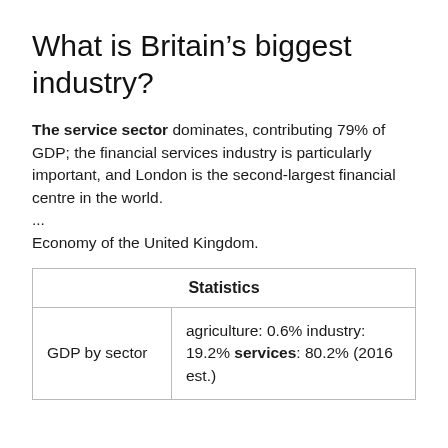What is Britain's biggest industry?
The service sector dominates, contributing 79% of GDP; the financial services industry is particularly important, and London is the second-largest financial centre in the world.
...
Economy of the United Kingdom.
| Statistics |
| --- |
| GDP by sector | agriculture: 0.6% industry: 19.2% services: 80.2% (2016 est.) |